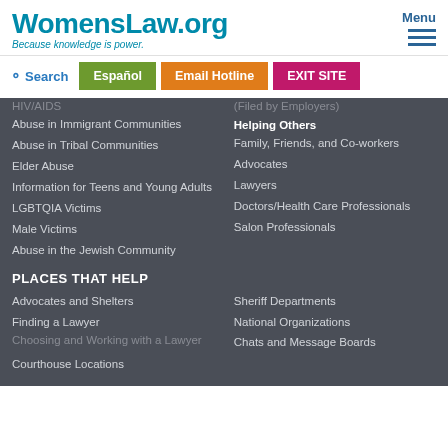WomensLaw.org — Because knowledge is power.
Search
Español
Email Hotline
EXIT SITE
HIV/AIDS
Abuse in Immigrant Communities
Abuse in Tribal Communities
Elder Abuse
Information for Teens and Young Adults
LGBTQIA Victims
Male Victims
Abuse in the Jewish Community
(Filed by Employers)
Helping Others
Family, Friends, and Co-workers
Advocates
Lawyers
Doctors/Health Care Professionals
Salon Professionals
PLACES THAT HELP
Advocates and Shelters
Finding a Lawyer
Choosing and Working with a Lawyer
Courthouse Locations
Sheriff Departments
National Organizations
Chats and Message Boards